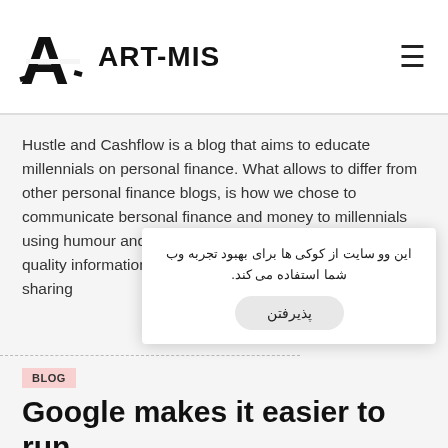ART-MIS
Hustle and Cashflow is a blog that aims to educate millennials on personal finance. What allows to differ from other personal finance blogs, is how we chose to communicate bersonal finance and money to millennials using humour and relatable language while providing quality information about how to deal with money and sharing
این وو سایت از کوکی ها برای بهبود تجربه وب شما استفاده می کند.
پذیرفتن
BLOG
Google makes it easier to run